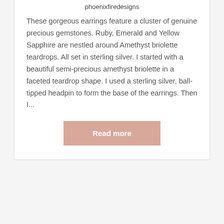phoenixfiredesigns
These gorgeous earrings feature a cluster of genuine precious gemstones. Ruby, Emerald and Yellow Sapphire are nestled around Amethyst briolette teardrops. All set in sterling silver. I started with a beautiful semi-precious amethyst briolette in a faceted teardrop shape. I used a sterling silver, ball-tipped headpin to form the base of the earrings. Then I...
Read more
Phoenix Fire Cluster Dangle Earrings
Posted on May 17, 2011 by phoenixfiredesigns
I've been wanting to make a pair of phoenix/fire color earrings for awhile. And the nice thing about making